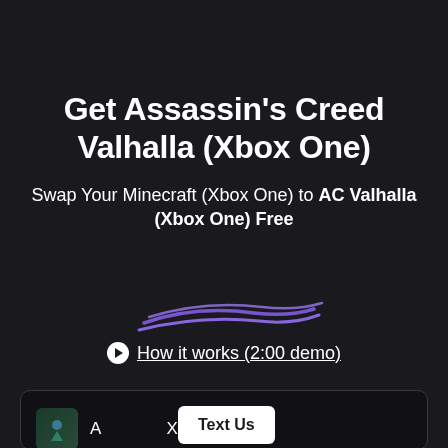Get Assassin's Creed Valhalla (Xbox One)
Swap Your Minecraft (Xbox One) to AC Valhalla (Xbox One) Free
[Figure (illustration): Purple hand-drawn underline / divider strokes]
▶ How it works (2:00 demo)
[Figure (screenshot): Dark card with Assassin's Creed game icon, 'Text Us' white button overlay, and text 'A... Xbox One)']